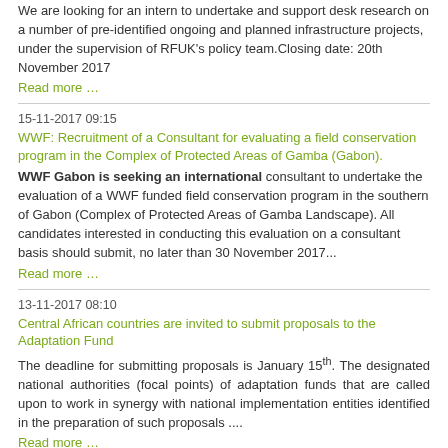We are looking for an intern to undertake and support desk research on a number of pre-identified ongoing and planned infrastructure projects, under the supervision of RFUK's policy team.Closing date: 20th November 2017
Read more …
15-11-2017 09:15
WWF: Recruitment of a Consultant for evaluating a field conservation program in the Complex of Protected Areas of Gamba (Gabon).
WWF Gabon is seeking an international consultant to undertake the evaluation of a WWF funded field conservation program in the southern of Gabon (Complex of Protected Areas of Gamba Landscape). All candidates interested in conducting this evaluation on a consultant basis should submit, no later than 30 November 2017...
Read more …
13-11-2017 08:10
Central African countries are invited to submit proposals to the Adaptation Fund
The deadline for submitting proposals is January 15th. The designated national authorities (focal points) of adaptation funds that are called upon to work in synergy with national implementation entities identified in the preparation of such proposals ....
Read more …
09-11-2017 10:26
europeaid/news: Faces2Hearts - Travel far, get closer
We are looking for 4 bloggers in total (our faces) with one face to be selected from each of 4 global regions (Africa, Asia-Pacific, Europe and Latin America). Each winning face will travel and meet fascinating people within his or her own region, except for the European blogger who will be travelling in Eastern &